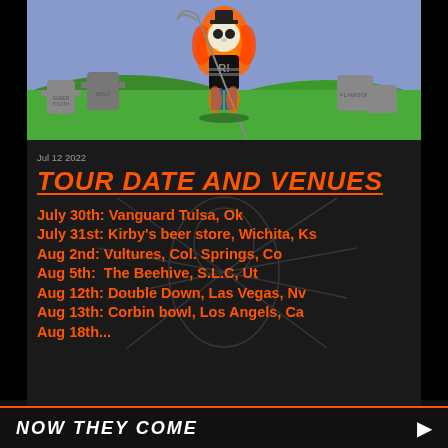[Figure (illustration): Cartoon illustration of a skeleton figure with orange flaming hair holding a scythe, standing in a graveyard with green hills. Tombstones read 'Sabretooth' and 'Wolf'. Purple sky background.]
Jul 12 2022
TOUR DATE AND VENUES
July 30th: Vanguard Tulsa, Ok
July 31st: Kirby's beer store, Wichita, Ks
Aug 2nd: Vultures, Col. Springs, Co
Aug 5th:  The Beehive, S.L.C, Ut
Aug 12th: Double Down, Las Vegas, Nv
Aug 13th: Corbin bowl, Los Angels, Ca
Aug 18th...
NOW THEY COME